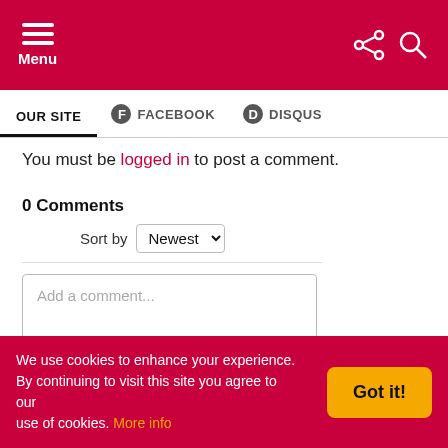Menu
OUR SITE | FACEBOOK | DISQUS
You must be logged in to post a comment.
0 Comments
Sort by Newest
Add a comment...
Facebook Comments Plugin
We use cookies to enhance your experience. By continuing to visit this site you agree to our use of cookies. More info Got it!